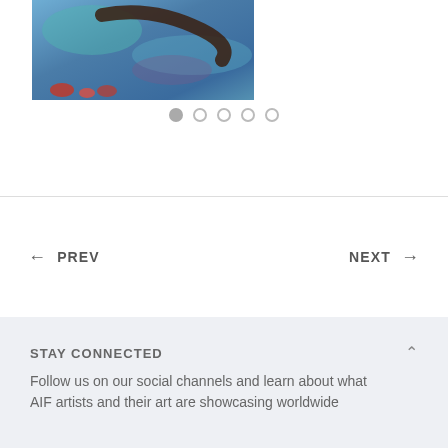[Figure (illustration): A painting with blue tones, showing water or sky with a dark curved brushstroke and red accents at the bottom, impressionist style.]
[Figure (other): Carousel pagination dots: one filled grey dot followed by four empty circle dots.]
← PREV
NEXT →
STAY CONNECTED
Follow us on our social channels and learn about what AIF artists and their art are showcasing worldwide